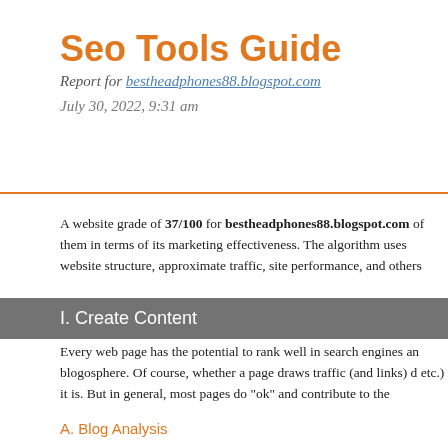Seo Tools Guide
Report for bestheadphones88.blogspot.com
July 30, 2022, 9:31 am
A website grade of 37/100 for bestheadphones88.blogspot.com of them in terms of its marketing effectiveness. The algorithm uses website structure, approximate traffic, site performance, and others
I. Create Content
Every web page has the potential to rank well in search engines and blogosphere. Of course, whether a page draws traffic (and links) d etc.) it is. But in general, most pages do "ok" and contribute to the
A. Blog Analysis